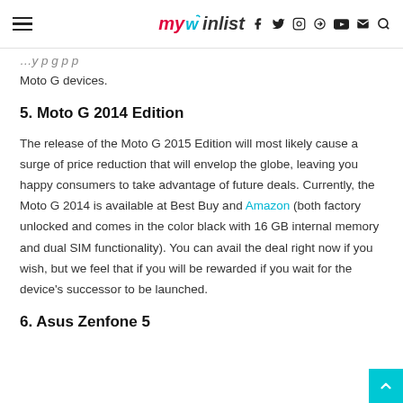mywishlist — navigation header with hamburger menu and social icons
Moto G devices.
5. Moto G 2014 Edition
The release of the Moto G 2015 Edition will most likely cause a surge of price reduction that will envelop the globe, leaving you happy consumers to take advantage of future deals. Currently, the Moto G 2014 is available at Best Buy and Amazon (both factory unlocked and comes in the color black with 16 GB internal memory and dual SIM functionality). You can avail the deal right now if you wish, but we feel that if you will be rewarded if you wait for the device's successor to be launched.
6. Asus Zenfone 5